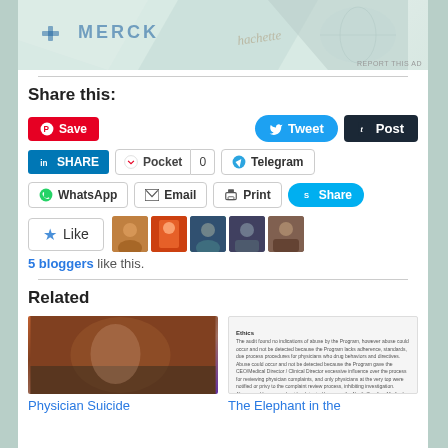[Figure (photo): Merck advertisement image at the top of the page with teal/green color scheme]
REPORT THIS AD
Share this:
Save | Tweet | Post | SHARE | Pocket 0 | Telegram | WhatsApp | Email | Print | Share
[Figure (photo): Like button with star icon and 5 blogger avatars]
5 bloggers like this.
Related
[Figure (photo): Physician Suicide related article image]
Physician Suicide
[Figure (photo): The Elephant in the related article image showing document text]
The Elephant in the